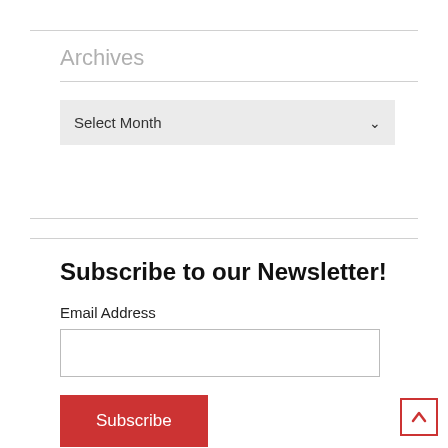Archives
Select Month
Subscribe to our Newsletter!
Email Address
Subscribe